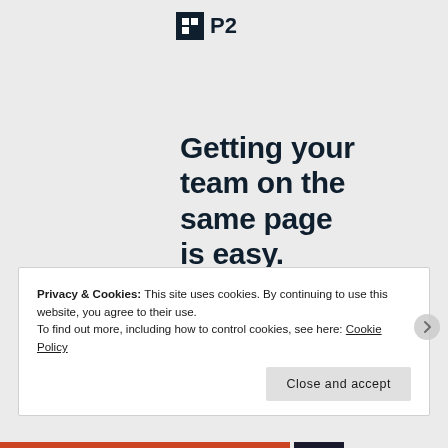P2
Getting your team on the same page is easy. And free.
Privacy & Cookies: This site uses cookies. By continuing to use this website, you agree to their use.
To find out more, including how to control cookies, see here: Cookie Policy
Close and accept